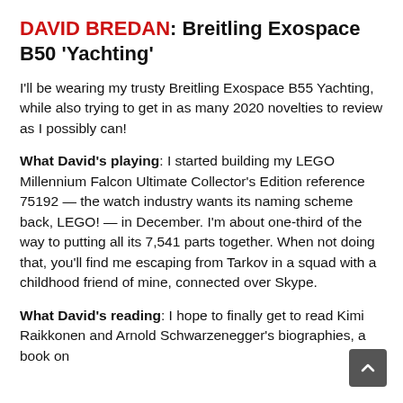DAVID BREDAN: Breitling Exospace B50 'Yachting'
I'll be wearing my trusty Breitling Exospace B55 Yachting, while also trying to get in as many 2020 novelties to review as I possibly can!
What David's playing: I started building my LEGO Millennium Falcon Ultimate Collector's Edition reference 75192 — the watch industry wants its naming scheme back, LEGO! — in December. I'm about one-third of the way to putting all its 7,541 parts together. When not doing that, you'll find me escaping from Tarkov in a squad with a childhood friend of mine, connected over Skype.
What David's reading: I hope to finally get to read Kimi Raikkonen and Arnold Schwarzenegger's biographies, a book on